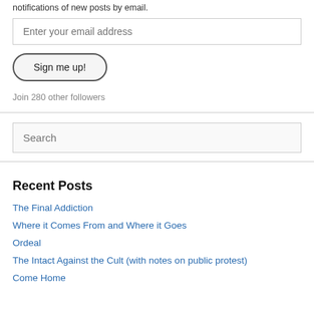notifications of new posts by email.
Enter your email address
Sign me up!
Join 280 other followers
Search
Recent Posts
The Final Addiction
Where it Comes From and Where it Goes
Ordeal
The Intact Against the Cult (with notes on public protest)
Come Home